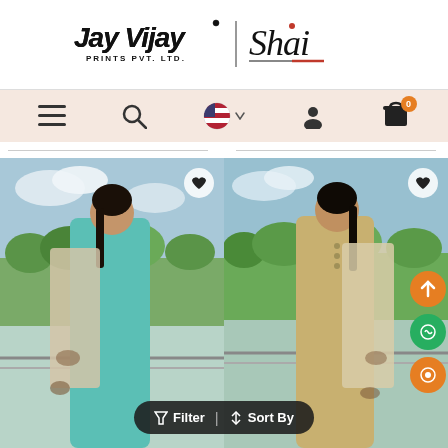[Figure (logo): Jay Vijay Prints Pvt. Ltd. and Shai brand logos side by side with a vertical divider line]
[Figure (screenshot): Navigation bar with hamburger menu, search icon, US flag with dropdown, user icon, and shopping cart with orange badge showing 0]
[Figure (photo): Two fashion product photos side by side: left shows a woman in a teal/mint green salwar suit with embroidered dupatta outdoors; right shows a woman in a beige/khaki salwar suit with embroidered dupatta outdoors. Both have heart/wishlist buttons. A Filter and Sort By button bar appears at the bottom. Orange and green floating action buttons on the right side.]